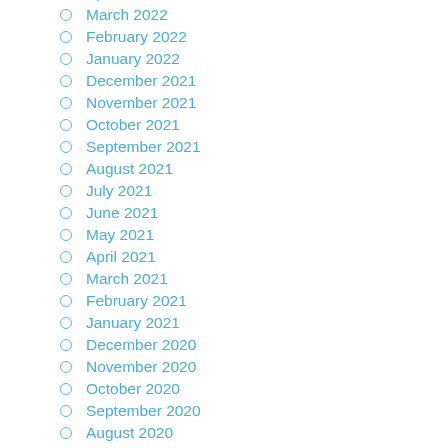April 2022
March 2022
February 2022
January 2022
December 2021
November 2021
October 2021
September 2021
August 2021
July 2021
June 2021
May 2021
April 2021
March 2021
February 2021
January 2021
December 2020
November 2020
October 2020
September 2020
August 2020